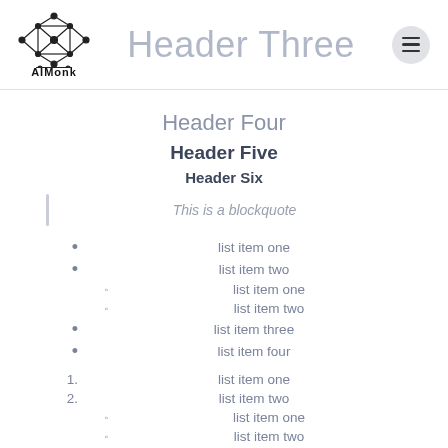Header Three
Header Four
Header Five
Header Six
This is a blockquote
list item one
list item two
list item one
list item two
list item three
list item four
list item one
list item two
list item one
list item two